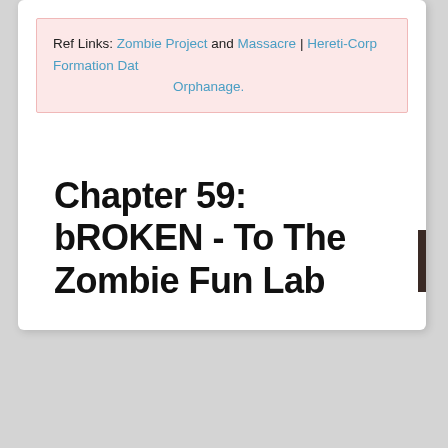Ref Links: Zombie Project and Massacre | Hereti-Corp Formation Date Orphanage.
Chapter 59: bROKEN - To The Zombie Fun Lab